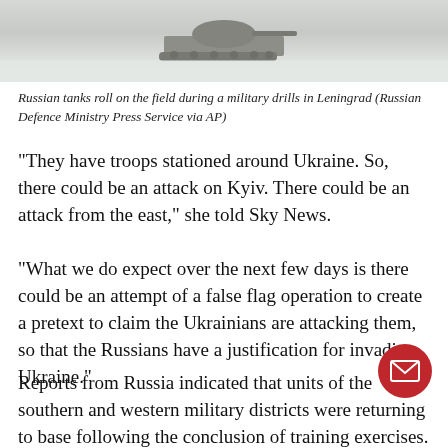[Figure (photo): Russian tank rolling on a snow-covered field during military drills, viewed from above/front, snowy landscape]
Russian tanks roll on the field during a military drills in Leningrad (Russian Defence Ministry Press Service via AP)
“They have troops stationed around Ukraine. So, there could be an attack on Kyiv. There could be an attack from the east,” she told Sky News.
“What we do expect over the next few days is there could be an attempt of a false flag operation to create a pretext to claim the Ukrainians are attacking them, so that the Russians have a justification for invading Ukraine.”
Reports from Russia indicated that units of the southern and western military districts were returning to base following the conclusion of training exercises.